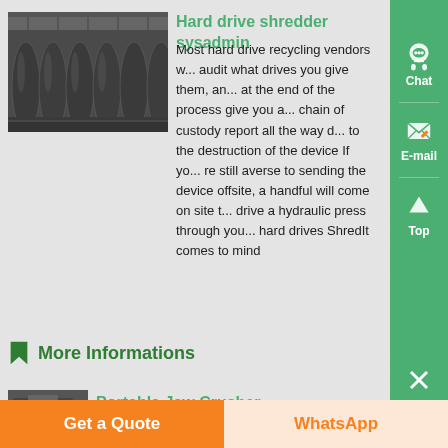[Figure (photo): Industrial shredder or cylindrical machine components in a factory setting, dark grey metal tubes/rollers]
Hard drive shredder sysadmin
Most hard drive recycling vendors w... audit what drives you give them, an... at the end of the process give you a... chain of custody report all the way d... to the destruction of the device If yo... re still averse to sending the device offsite, a handful will come on site t... drive a hydraulic press through you... hard drives ShredIt comes to mind
More Informations
[Figure (photo): Partial view of a portable jaw crusher machine]
Portable Jaw Crusher